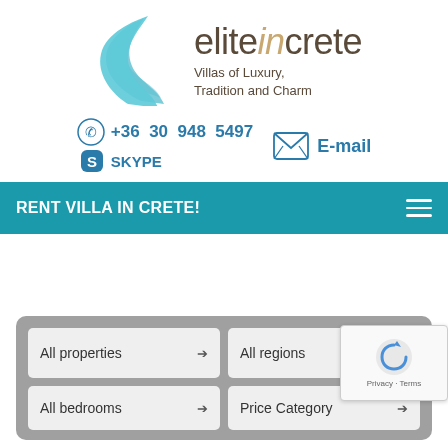[Figure (logo): EliteInCrete logo with teal wave/flame graphic and text 'eliteincrete' with tagline 'Villas of Luxury, Tradition and Charm']
+36 30 948 5497  SKYPE  E-mail
RENT VILLA IN CRETE!
All properties  All regions  All bedrooms  Price Category